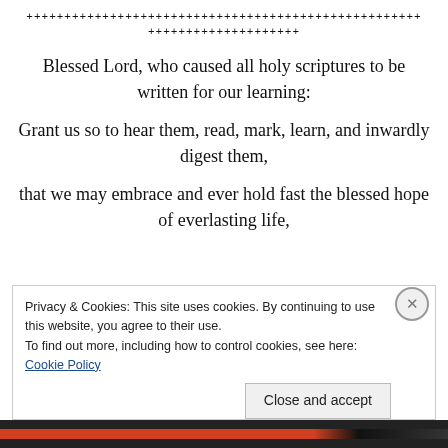++++++++++++++++++++++++++++++++++++++++++++++++++
++++++++++++++++++++
Blessed Lord, who caused all holy scriptures to be written for our learning:
Grant us so to hear them, read, mark, learn, and inwardly digest them,
that we may embrace and ever hold fast the blessed hope of everlasting life,
Privacy & Cookies: This site uses cookies. By continuing to use this website, you agree to their use.
To find out more, including how to control cookies, see here: Cookie Policy
Close and accept